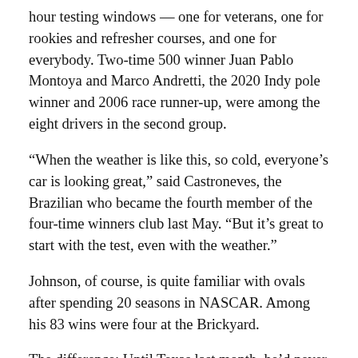hour testing windows — one for veterans, one for rookies and refresher courses, and one for everybody. Two-time 500 winner Juan Pablo Montoya and Marco Andretti, the 2020 Indy pole winner and 2006 race runner-up, were among the eight drivers in the second group.
“When the weather is like this, so cold, everyone’s car is looking great,” said Castroneves, the Brazilian who became the fourth member of the four-time winners club last May. “But it’s great to start with the test, even with the weather.”
Johnson, of course, is quite familiar with ovals after spending 20 seasons in NASCAR. Among his 83 wins were four at the Brickyard.
The difference: Until Texas last month, he’d never turned laps at such high speeds, especially at Indy.